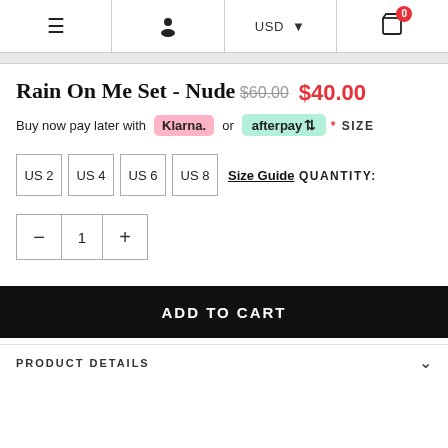≡  [user icon]  USD ▼  [cart 0]
Rain On Me Set - Nude
$60.00  $40.00
Buy now pay later with Klarna. or afterpay
* SIZE
US 2  US 4  US 6  US 8  Size Guide
QUANTITY:
- 1 +
ADD TO CART
PRODUCT DETAILS